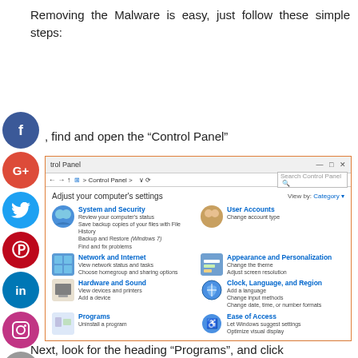Removing the Malware is easy, just follow these simple steps:
First, find and open the “Control Panel”
[Figure (screenshot): Windows Control Panel screenshot showing categories: System and Security, Network and Internet, Hardware and Sound, Programs, User Accounts, Appearance and Personalization, Clock Language and Region, Ease of Access]
Next, look for the heading “Programs”, and click